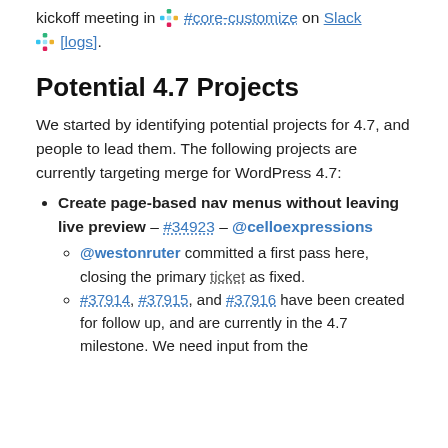On Monday we held the customize component kickoff meeting in #core-customize on Slack [logs].
Potential 4.7 Projects
We started by identifying potential projects for 4.7, and people to lead them. The following projects are currently targeting merge for WordPress 4.7:
Create page-based nav menus without leaving live preview – #34923 – @celloexpressions
@westonruter committed a first pass here, closing the primary ticket as fixed.
#37914, #37915, and #37916 have been created for follow up, and are currently in the 4.7 milestone. We need input from the